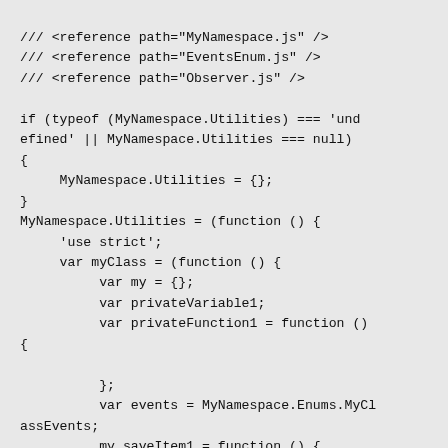/// <reference path="MyNamespace.js" />
/// <reference path="EventsEnum.js" />
/// <reference path="Observer.js" />

if (typeof (MyNamespace.Utilities) === 'undefined' || MyNamespace.Utilities === null)
{
    MyNamespace.Utilities = {};
}
MyNamespace.Utilities = (function () {
    'use strict';
    var myClass = (function () {
        var my = {};
        var privateVariable1;
        var privateFunction1 = function ()
{

        };
        var events = MyNamespace.Enums.MyClassEvents;
        my.saveItem1 = function () {